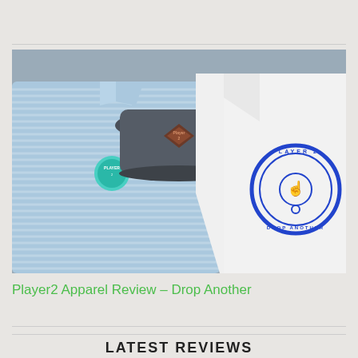[Figure (photo): Flat lay photo of Player2 golf apparel: a light blue striped polo shirt with teal logo tag on the left, a dark grey trucker cap with Player2 diamond logo in the center, and a white t-shirt with blue circular 'Player 2 Drop Another' logo on the right, all laid on a grey surface.]
Player2 Apparel Review – Drop Another
LATEST REVIEWS